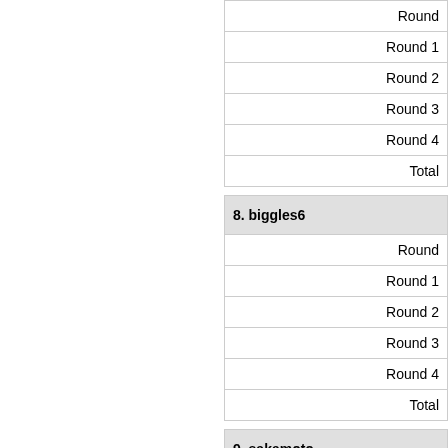| Round |
| --- |
| Round |
| Round 1 |
| Round 2 |
| Round 3 |
| Round 4 |
| Total |
|  |
| 8. biggles6 |
| Round |
| Round 1 |
| Round 2 |
| Round 3 |
| Round 4 |
| Total |
|  |
| 9. sakamoto |
| Round |
| Round 1 |
| Round 2 |
| Round 3 |
| Round 4 |